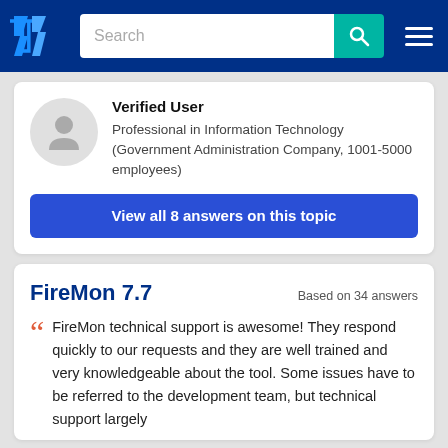TrustRadius navigation bar with logo, search field, and hamburger menu
Verified User
Professional in Information Technology (Government Administration Company, 1001-5000 employees)
View all 8 answers on this topic
FireMon 7.7
Based on 34 answers
FireMon technical support is awesome! They respond quickly to our requests and they are well trained and very knowledgeable about the tool. Some issues have to be referred to the development team, but technical support largely